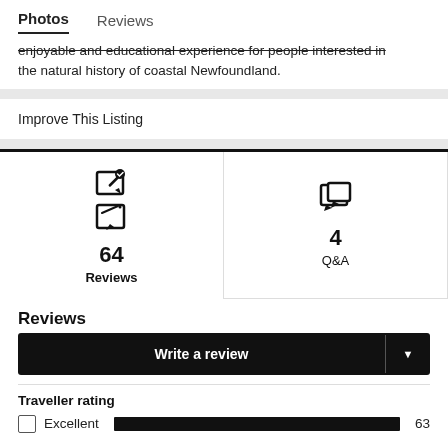Photos  Reviews
enjoyable and educational experience for people interested in the natural history of coastal Newfoundland.
Improve This Listing
64 Reviews
4 Q&A
Reviews
Write a review
Traveller rating
Excellent  63